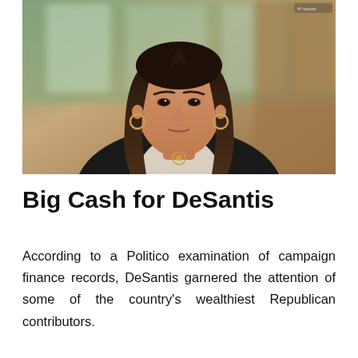[Figure (photo): A woman with long dark hair wearing a black blazer and a gold necklace pendant, speaking or presenting, with a blurred indoor background featuring windows and warm lighting.]
Big Cash for DeSantis
According to a Politico examination of campaign finance records, DeSantis garnered the attention of some of the country's wealthiest Republican contributors.